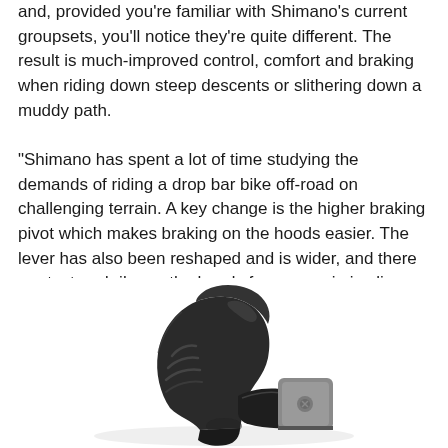and, provided you're familiar with Shimano's current groupsets, you'll notice they're quite different. The result is much-improved control, comfort and braking when riding down steep descents or slithering down a muddy path.
"Shimano has spent a lot of time studying the demands of riding a drop bar bike off-road on challenging terrain. A key change is the higher braking pivot which makes braking on the hoods easier. The lever has also been reshaped and is wider, and there are textured ribs on the hoods for more grip in slippery weather.
[Figure (photo): Close-up photo of a Shimano GRX or similar drop-bar groupset brake/shift lever unit in black, showing the textured hood, wider lever blade, and part of the clamp, photographed on a white background.]